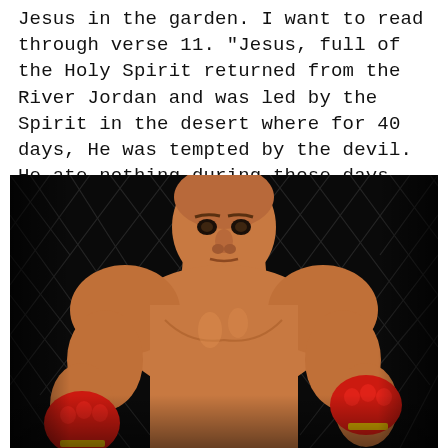Jesus in the garden. I want to read through verse 11. "Jesus, full of the Holy Spirit returned from the River Jordan and was led by the Spirit in the desert where for 40 days, He was tempted by the devil. He ate nothing during those days, and at the end, He was hungry."
[Figure (photo): A muscular male fighter in a boxing/MMA fighting stance, wearing red hand wraps on his fists raised in a guard position, shaved head, intense expression, photographed in front of a chain-link fence cage background. Black background.]